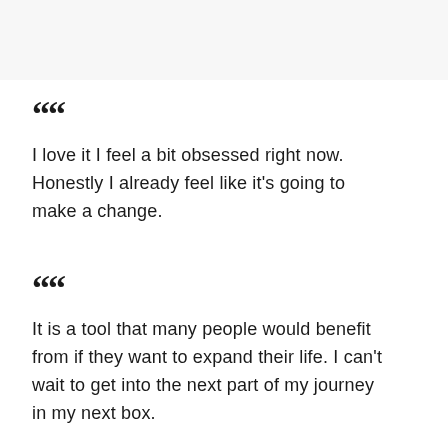[Figure (photo): Faded background image at top of page, light gray/white tones]
““
I love it I feel a bit obsessed right now. Honestly I already feel like it's going to make a change.
““
It is a tool that many people would benefit from if they want to expand their life. I can't wait to get into the next part of my journey in my next box.